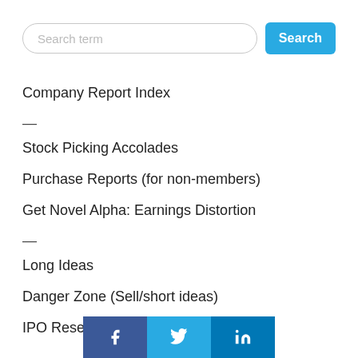[Figure (screenshot): Search bar with text input field labeled 'Search term' and a blue 'Search' button]
Company Report Index
—
Stock Picking Accolades
Purchase Reports (for non-members)
Get Novel Alpha: Earnings Distortion
—
Long Ideas
Danger Zone (Sell/short ideas)
IPO Research
[Figure (other): Social sharing buttons: Facebook, Twitter, LinkedIn]